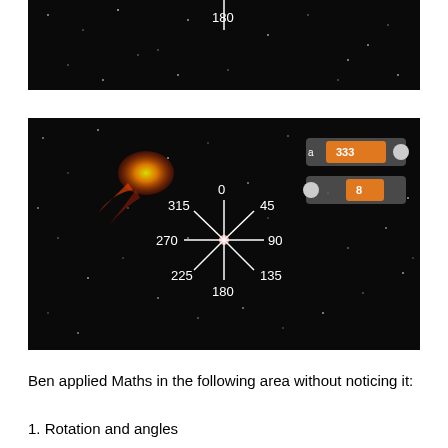[Figure (screenshot): Dark space background screenshot showing angle compass with label 180 at bottom, white dot stars scattered around, top portion of a space game interface]
[Figure (screenshot): Dark space background screenshot showing angle compass with labels 0, 45, 90, 135, 180, 225, 270, 315 radiating from center, a fireball/comet in upper left, and two orange UI sliders in upper right showing values 333 and 8]
Ben applied Maths in the following area without noticing it:
1. Rotation and angles